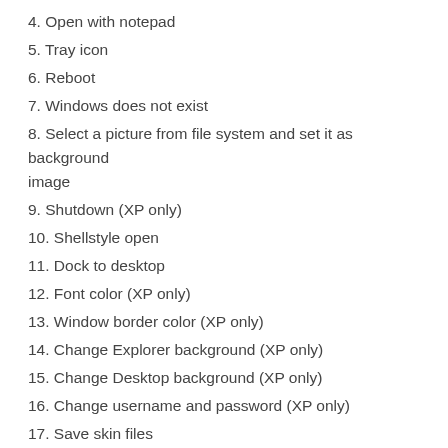4. Open with notepad
5. Tray icon
6. Reboot
7. Windows does not exist
8. Select a picture from file system and set it as background image
9. Shutdown (XP only)
10. Shellstyle open
11. Dock to desktop
12. Font color (XP only)
13. Window border color (XP only)
14. Change Explorer background (XP only)
15. Change Desktop background (XP only)
16. Change username and password (XP only)
17. Save skin files
18. Help
19. Exit